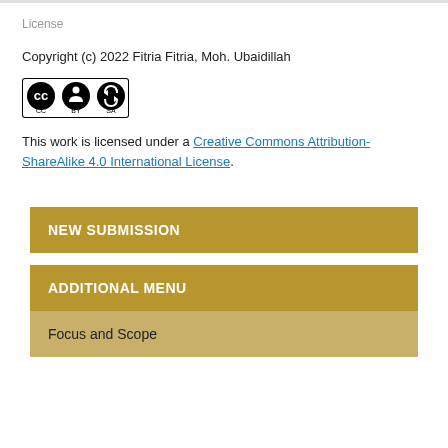License
Copyright (c) 2022 Fitria Fitria, Moh. Ubaidillah
[Figure (logo): Creative Commons CC BY-SA license badge with three circular icons]
This work is licensed under a Creative Commons Attribution-ShareAlike 4.0 International License.
NEW SUBMISSION
ADDITIONAL MENU
Focus and Scope